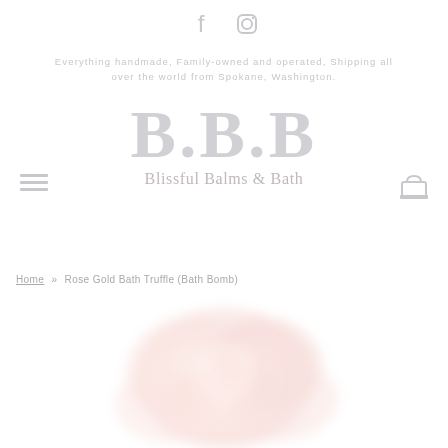[Figure (other): Facebook and Instagram social media icons in light gray]
Everything handmade, Family-owned and operated, Shipping all over the world from Spokane, Washington.
[Figure (logo): B.B.B Blissful Balms & Bath logo in light gray with hamburger menu icon on left and shopping cart icon on right]
Home » Rose Gold Bath Truffle (Bath Bomb)
[Figure (photo): Blurred pink rose gold bath truffle bath bomb product photo at bottom of page]